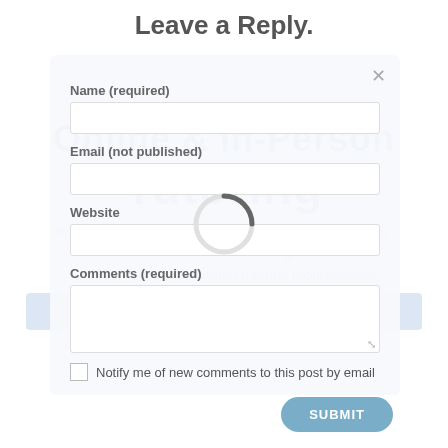Leave a Reply.
Name (required)
Email (not published)
[Figure (infographic): Background overlay showing tutoring advertisement with text 'Online & In-Person Tutoring' and a loading spinner in the center]
Website
Comments (required)
Notify me of new comments to this post by email
SUBMIT